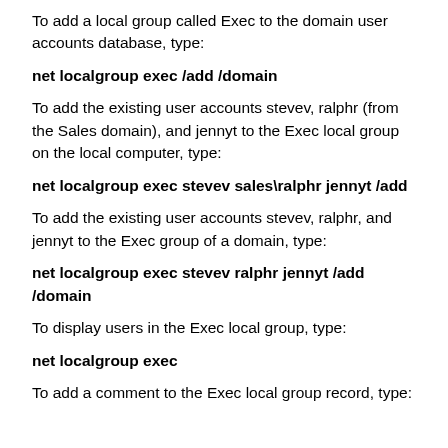To add a local group called Exec to the domain user accounts database, type:
net localgroup exec /add /domain
To add the existing user accounts stevev, ralphr (from the Sales domain), and jennyt to the Exec local group on the local computer, type:
net localgroup exec stevev sales\ralphr jennyt /add
To add the existing user accounts stevev, ralphr, and jennyt to the Exec group of a domain, type:
net localgroup exec stevev ralphr jennyt /add /domain
To display users in the Exec local group, type:
net localgroup exec
To add a comment to the Exec local group record, type: